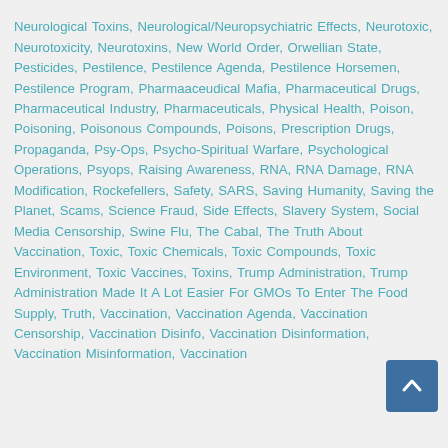Neurological Toxins, Neurological/Neuropsychiatric Effects, Neurotoxic, Neurotoxicity, Neurotoxins, New World Order, Orwellian State, Pesticides, Pestilence, Pestilence Agenda, Pestilence Horsemen, Pestilence Program, Pharmaaceudical Mafia, Pharmaceutical Drugs, Pharmaceutical Industry, Pharmaceuticals, Physical Health, Poison, Poisoning, Poisonous Compounds, Poisons, Prescription Drugs, Propaganda, Psy-Ops, Psycho-Spiritual Warfare, Psychological Operations, Psyops, Raising Awareness, RNA, RNA Damage, RNA Modification, Rockefellers, Safety, SARS, Saving Humanity, Saving the Planet, Scams, Science Fraud, Side Effects, Slavery System, Social Media Censorship, Swine Flu, The Cabal, The Truth About Vaccination, Toxic, Toxic Chemicals, Toxic Compounds, Toxic Environment, Toxic Vaccines, Toxins, Trump Administration, Trump Administration Made It A Lot Easier For GMOs To Enter The Food Supply, Truth, Vaccination, Vaccination Agenda, Vaccination Censorship, Vaccination Disinfo, Vaccination Disinformation, Vaccination Misinformation, Vaccination